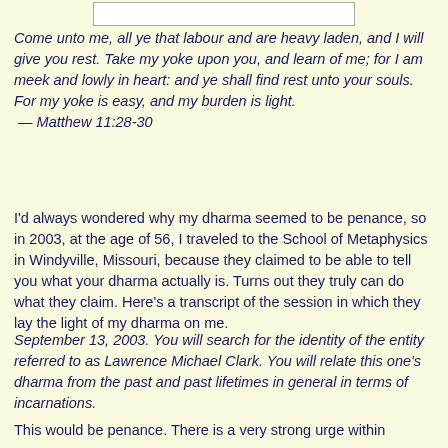[Figure (other): White rectangular box at top of page]
Come unto me, all ye that labour and are heavy laden, and I will give you rest. Take my yoke upon you, and learn of me; for I am meek and lowly in heart: and ye shall find rest unto your souls. For my yoke is easy, and my burden is light. — Matthew 11:28-30
I'd always wondered why my dharma seemed to be penance, so in 2003, at the age of 56, I traveled to the School of Metaphysics in Windyville, Missouri, because they claimed to be able to tell you what your dharma actually is. Turns out they truly can do what they claim. Here's a transcript of the session in which they lay the light of my dharma on me.
September 13, 2003. You will search for the identity of the entity referred to as Lawrence Michael Clark. You will relate this one's dharma from the past and past lifetimes in general in terms of incarnations.
This would be penance. There is a very strong urge within